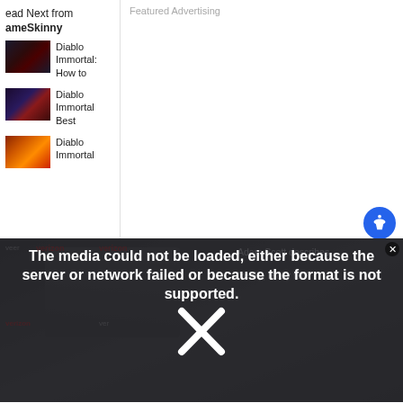Read Next from GameSkinny
Diablo Immortal: How to
Diablo Immortal Best
Diablo Immortal
Featured Advertising
[Figure (screenshot): Video player overlay showing a Verizon advertisement with people, overlaid with a media error message: 'The media could not be loaded, either because the server or network failed or because the format is not supported.' with an X dismiss button. On the right side shows text 'Adam Scott describes really, really fun']
Type: Melee.
Attribute: Strength.